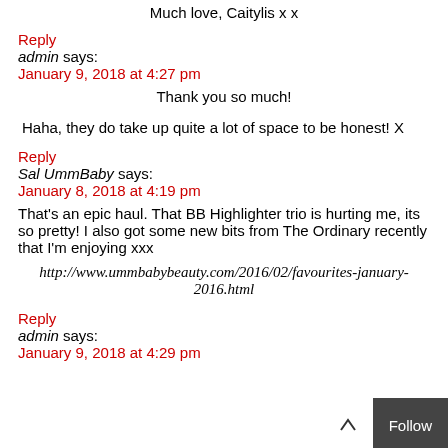Much love, Caitylis x x
Reply
admin says:
January 9, 2018 at 4:27 pm
Thank you so much!
Haha, they do take up quite a lot of space to be honest! X
Reply
Sal UmmBaby says:
January 8, 2018 at 4:19 pm
That's an epic haul. That BB Highlighter trio is hurting me, its so pretty! I also got some new bits from The Ordinary recently that I'm enjoying xxx
http://www.ummbabybeauty.com/2016/02/favourites-january-2016.html
Reply
admin says:
January 9, 2018 at 4:29 pm